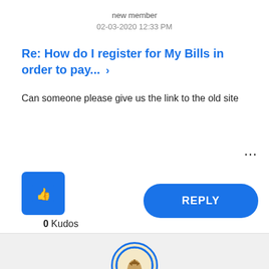new member
02-03-2020 12:33 PM
Re: How do I register for My Bills in order to pay... >
Can someone please give us the link to the old site
0 Kudos